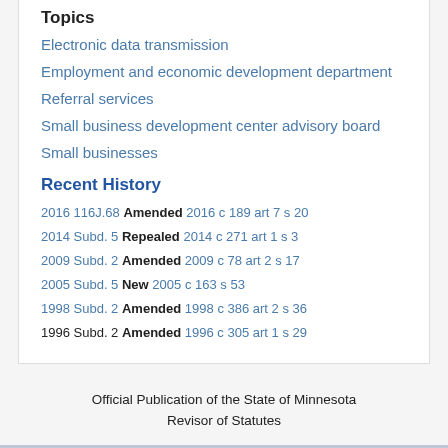Topics
Electronic data transmission
Employment and economic development department
Referral services
Small business development center advisory board
Small businesses
Recent History
2016 116J.68 Amended 2016 c 189 art 7 s 20
2014 Subd. 5 Repealed 2014 c 271 art 1 s 3
2009 Subd. 2 Amended 2009 c 78 art 2 s 17
2005 Subd. 5 New 2005 c 163 s 53
1998 Subd. 2 Amended 1998 c 386 art 2 s 36
1996 Subd. 2 Amended 1996 c 305 art 1 s 29
Official Publication of the State of Minnesota Revisor of Statutes